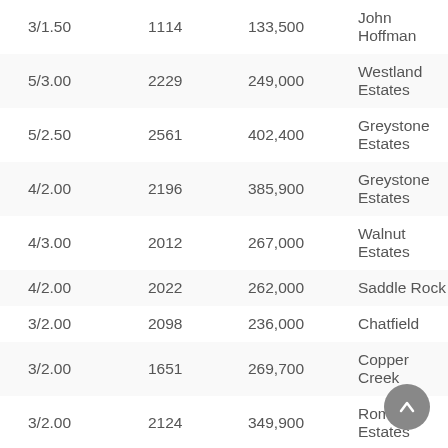| 3/1.50 | 1114 | 133,500 | John Hoffman |
| 5/3.00 | 2229 | 249,000 | Westland Estates |
| 5/2.50 | 2561 | 402,400 | Greystone Estates |
| 4/2.00 | 2196 | 385,900 | Greystone Estates |
| 4/3.00 | 2012 | 267,000 | Walnut Estates |
| 4/2.00 | 2022 | 262,000 | Saddle Rock |
| 3/2.00 | 2098 | 236,000 | Chatfield |
| 3/2.00 | 1651 | 269,700 | Copper Creek |
| 3/2.00 | 2124 | 349,900 | Roma Estates |
| 3/2.00 | 1755 | 292,000 | Mesa Estates |
| 3/2.00 | 1380 | 192,900 | Deerfield |
| 3/3.00 | 1434 | 178,900 | River Trail Duplex |
| 4/3.00 | 2248 | 414,000 | Greystone Estates |
| 5/3.50 | 3172 | 489,500 | Country Meadows |
| 3/3.00 | 1658 | 205,000 | Wexford |
| 4/2.00 | 1814 | 232,500 | Stagecoach Trail |
| 3/3.00 | 2105 | 480,000 | Ten Overlook |
| 4/2.00 | 1925 | 249,000 | Saddle Rock |